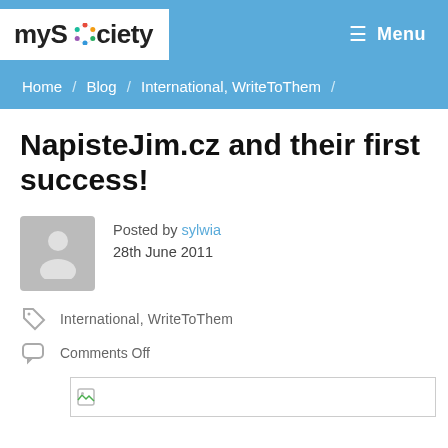mySociety | Menu
Home / Blog / International, WriteToThem /
NapisteJim.cz and their first success!
Posted by sylwia
28th June 2011
International, WriteToThem
Comments Off
[Figure (photo): Broken image placeholder at bottom of post]